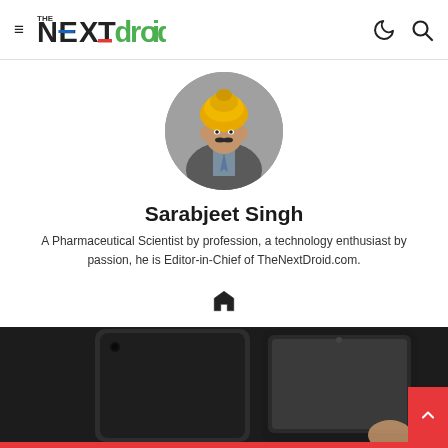TheNextDroid
[Figure (photo): Profile photo of Sarabjeet Singh, a man wearing a yellow turban and suit, shown in a circular crop.]
Sarabjeet Singh
A Pharmaceutical Scientist by profession, a technology enthusiast by passion, he is Editor-in-Chief of TheNextDroid.com.
[Figure (photo): Bottom portion of page showing tablet devices (back and front views) on a dark background with a red bar at the bottom.]